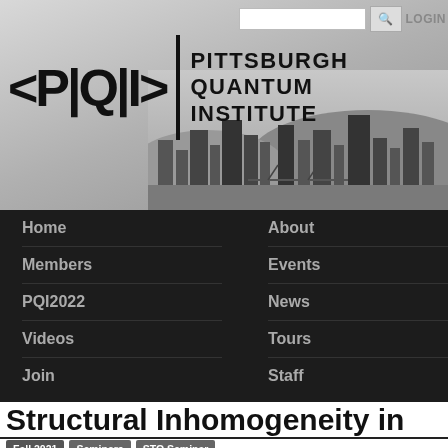[Figure (screenshot): Pittsburgh Quantum Institute website header with logo showing <P|Q|I> symbol and text 'PITTSBURGH QUANTUM INSTITUTE', with city skyline background, search bar, and LOGIN button]
Home
About
Members
Events
PQI2022
News
Videos
Tours
Join
Staff
Structural Inhomogeneity in Oxide Superconductors
Fall 2021    Seminars    STO Seminar